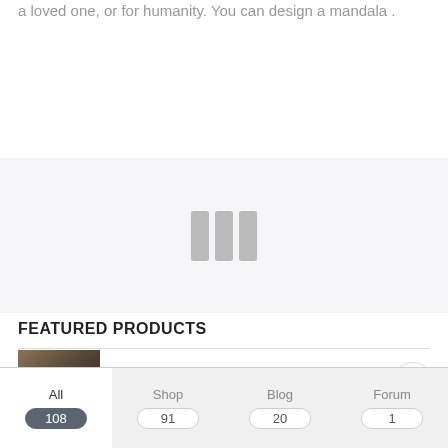a loved one, or for humanity. You can design a mandala .
Read More
[Figure (other): Loading spinner with three vertical gray bars on a light gray background]
FEATURED PRODUCTS
[Figure (photo): Small thumbnail image of a sculptural figure, brown/bronze tones]
All 108 | Shop 91 | Blog 20 | Forum 1